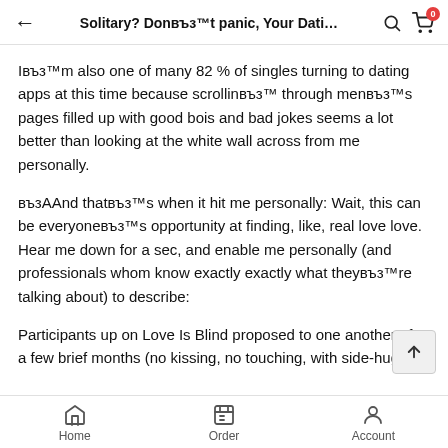Solitary? DonвЂ™t panic, Your Dati…
IвЂ™m also one of many 82 % of singles turning to dating apps at this time because scrollinвЂ™ through menвЂ™s pages filled up with good bois and bad jokes seems a lot better than looking at the white wall across from me personally.
вЂ¦And thatвЂ™s when it hit me personally: Wait, this can be everyoneвЂ™s opportunity at finding, like, real love love. Hear me down for a sec, and enable me personally (and professionals whom know exactly exactly what theyвЂ™re talking about) to describe:
Participants up on Love Is Blind proposed to one another after a few brief months (no kissing, no touching, with side-hugging that is awkward). And yes, not even half of
Home   Order   Account